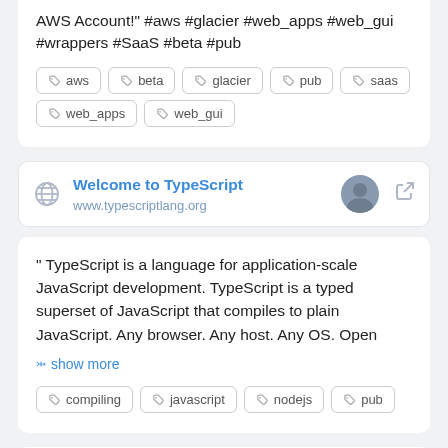AWS Account!" #aws #glacier #web_apps #web_gui #wrappers #SaaS #beta #pub
aws
beta
glacier
pub
saas
web_apps
web_gui
Welcome to TypeScript
www.typescriptlang.org
" TypeScript is a language for application-scale JavaScript development. TypeScript is a typed superset of JavaScript that compiles to plain JavaScript. Any browser. Any host. Any OS. Open
show more
compiling
javascript
nodejs
pub
PHP PhantomJS